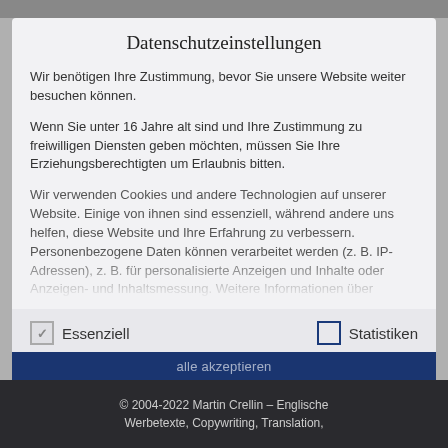Datenschutzeinstellungen
Wir benötigen Ihre Zustimmung, bevor Sie unsere Website weiter besuchen können.
Wenn Sie unter 16 Jahre alt sind und Ihre Zustimmung zu freiwilligen Diensten geben möchten, müssen Sie Ihre Erziehungsberechtigten um Erlaubnis bitten.
Wir verwenden Cookies und andere Technologien auf unserer Website. Einige von ihnen sind essenziell, während andere uns helfen, diese Website und Ihre Erfahrung zu verbessern. Personenbezogene Daten können verarbeitet werden (z. B. IP-Adressen), z. B. für personalisierte Anzeigen und Inhalte oder Anzeigen- und Inhaltsmessung. Weitere Informationen über
Essenziell
Statistiken
alle akzeptieren
© 2004-2022 Martin Crellin – Englische Werbetexte, Copywriting, Translation,